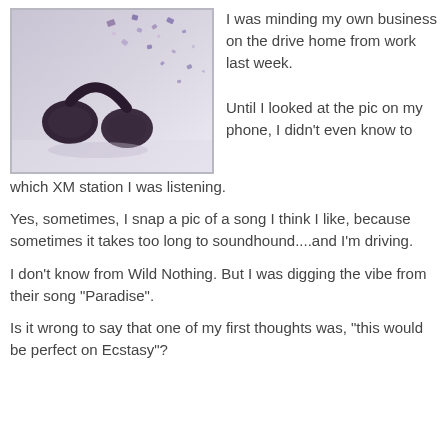[Figure (photo): An artistic photo of headphones with musical notes or pieces exploding/scattering from them against a light background]
I was minding my own business on the drive home from work last week.

Until I looked at the pic on my phone, I didn't even know to which XM station I was listening.

Yes, sometimes, I snap a pic of a song I think I like, because sometimes it takes too long to soundhound....and I'm driving.

I don't know from Wild Nothing. But I was digging the vibe from their song "Paradise".

Is it wrong to say that one of my first thoughts was, "this would be perfect on Ecstasy"?